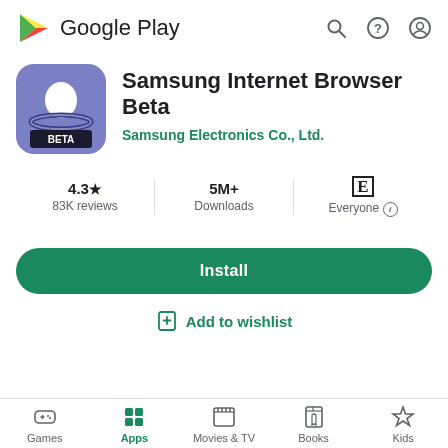[Figure (logo): Google Play logo with triangle icon and text]
[Figure (screenshot): Samsung Internet Browser Beta app icon - blue/purple rounded square with white Saturn-like logo and BETA badge]
Samsung Internet Browser Beta
Samsung Electronics Co., Ltd.
4.3★ 83K reviews | 5M+ Downloads | E Everyone
Install
Add to wishlist
Games | Apps | Movies & TV | Books | Kids